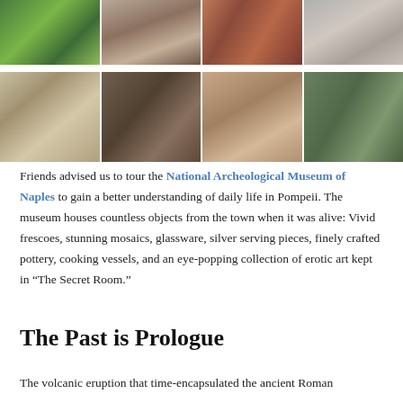[Figure (photo): Top row of four photos of Pompeii ruins: garden with green lawn, stone arch doorway, red fresco wall interior, ancient Roman paved road]
[Figure (photo): Second row of four photos of Pompeii ruins: tourists walking on cobblestone road with mountains, stone column with archway, curved brick ceiling/arch interior, ruined walls with vegetation]
Friends advised us to tour the National Archeological Museum of Naples to gain a better understanding of daily life in Pompeii. The museum houses countless objects from the town when it was alive: Vivid frescoes, stunning mosaics, glassware, silver serving pieces, finely crafted pottery, cooking vessels, and an eye-popping collection of erotic art kept in “The Secret Room.”
The Past is Prologue
The volcanic eruption that time-encapsulated the ancient Roman